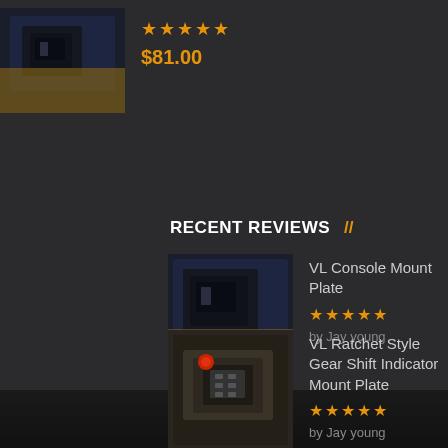[Figure (photo): Product thumbnail - VL Console Mount Plate, dark blue interior console image, top of page]
★★★★★
$81.00
RECENT REVIEWS //
[Figure (photo): Product thumbnail - VL Console Mount Plate, dark blue interior console]
VL Console Mount Plate
★★★★★
by Jay young
[Figure (photo): Product thumbnail - VL Ratchet Style Gear Shift Indicator Mount Plate, gear shift with red button]
VL Ratchet Style Gear Shift Indicator Mount Plate
★★★★★
by Jay young